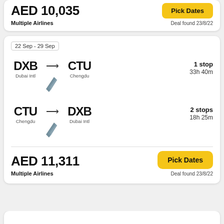AED 10,035
Multiple Airlines
Pick Dates
Deal found 23/8/22
22 Sep - 29 Sep
DXB → CTU
Dubai Intl → Chengdu
1 stop
33h 40m
CTU → DXB
Chengdu → Dubai Intl
2 stops
18h 25m
AED 11,311
Multiple Airlines
Pick Dates
Deal found 23/8/22